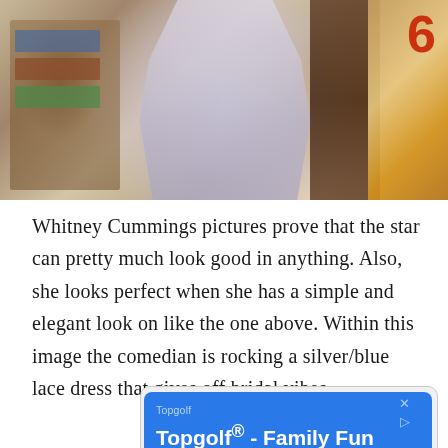[Figure (photo): Photo of Whitney Cummings wearing a silver/blue lace dress, standing in front of a wooden background with vintage posters and signage. A red number 6 is visible in the upper right area.]
Whitney Cummings pictures prove that the star can pretty much look good in anything. Also, she looks perfect when she has a simple and elegant look on like the one above. Within this image the comedian is rocking a silver/blue lace dress that gives off bridal vibes.
[Figure (other): Advertisement for Topgolf. Text reads: Topgolf | Topgolf® - Family Fun | The premier entertainment destination for families.]